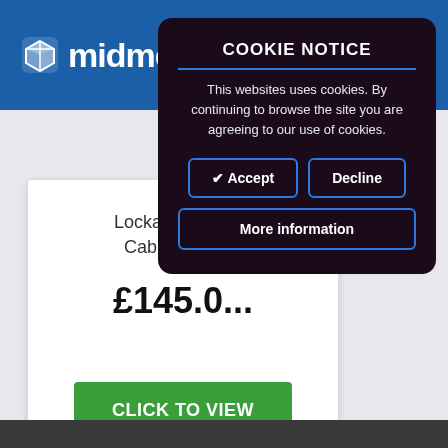[Figure (screenshot): Midme website header with blue background and logo showing cube icon and partial text 'midme']
Lockable Presc... Cabinet for P...
£145.0...
CLICK TO VIEW
COOKIE NOTICE
This websites uses cookies. By continuing to browse the site you are agreeing to our use of cookies.
✔ Accept
Decline
More information